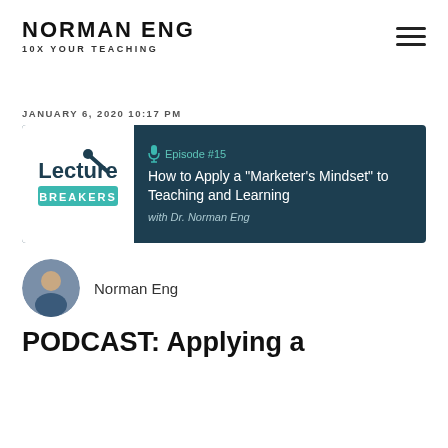NORMAN ENG | 10X YOUR TEACHING
JANUARY 6, 2020 10:17 PM
[Figure (screenshot): Lecture Breakers podcast card showing Episode #15: How to Apply a "Marketer's Mindset" to Teaching and Learning with Dr. Norman Eng]
Norman Eng
PODCAST: Applying a